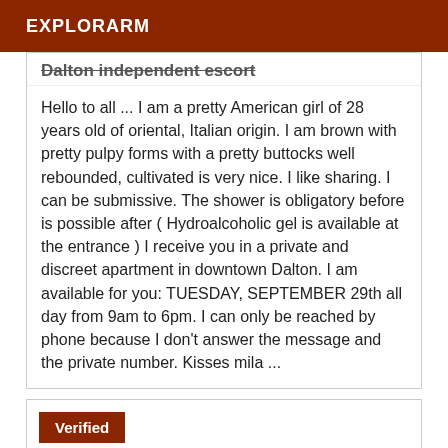EXPLORARM
Dalton independent escort
Hello to all ... I am a pretty American girl of 28 years old of oriental, Italian origin. I am brown with pretty pulpy forms with a pretty buttocks well rebounded, cultivated is very nice. I like sharing. I can be submissive. The shower is obligatory before is possible after ( Hydroalcoholic gel is available at the entrance ) I receive you in a private and discreet apartment in downtown Dalton. I am available for you: TUESDAY, SEPTEMBER 29th all day from 9am to 6pm. I can only be reached by phone because I don't answer the message and the private number. Kisses mila ...
Verified